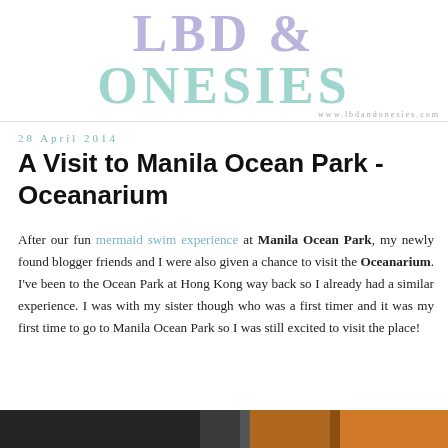LBD & ONESIES
28 April 2014
A Visit to Manila Ocean Park - Oceanarium
After our fun mermaid swim experience at Manila Ocean Park, my newly found blogger friends and I were also given a chance to visit the Oceanarium. I've been to the Ocean Park at Hong Kong way back so I already had a similar experience. I was with my sister though who was a first timer and it was my first time to go to Manila Ocean Park so I was still excited to visit the place!
[Figure (photo): Photo strip at the bottom showing dark interior and warm-toned images from Manila Ocean Park]